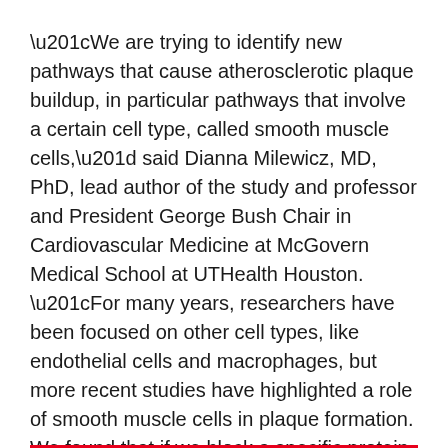“We are trying to identify new pathways that cause atherosclerotic plaque buildup, in particular pathways that involve a certain cell type, called smooth muscle cells,” said Dianna Milewicz, MD, PhD, lead author of the study and professor and President George Bush Chair in Cardiovascular Medicine at McGovern Medical School at UTHealth Houston. “For many years, researchers have been focused on other cell types, like endothelial cells and macrophages, but more recent studies have highlighted a role of smooth muscle cells in plaque formation. We found that if we block a specific protein in smooth muscle cells, we can effectively block the majority of plaque formation from occurring in an animal model.”
Using a knockout method, researchers fed genetically modified mice a high fat diet and caused the mice to